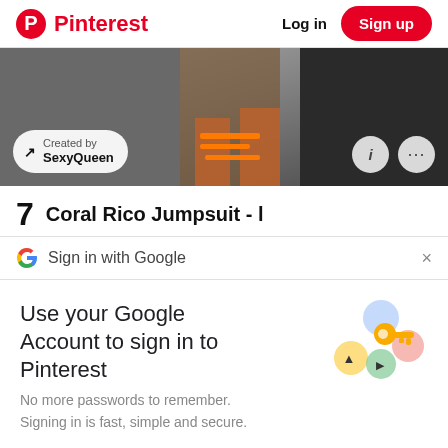Pinterest  Log in  Sign up
[Figure (photo): Pinterest pin image showing legs wearing orange strappy heels, with a 'Created by SexyQueen' badge overlay and info/more buttons]
7  Coral Rico Jumpsuit - l
G  Sign in with Google  ×
Use your Google Account to sign in to Pinterest
[Figure (illustration): Google account illustration with a golden key, colorful circles/icons representing Google account security]
No more passwords to remember. Signing in is fast, simple and secure.
Continue